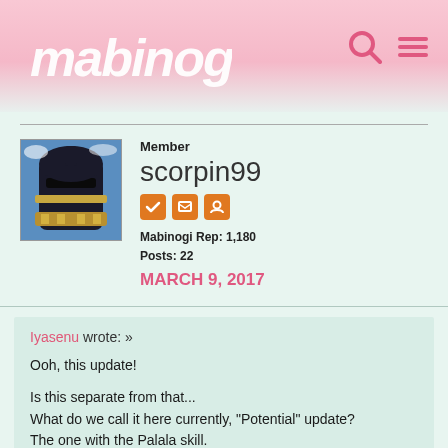mabinogi
Member
scorpin99
Mabinogi Rep: 1,180
Posts: 22
MARCH 9, 2017
Iyasenu wrote: »

Ooh, this update!

Is this separate from that...
What do we call it here currently, "Potential" update?
The one with the Palala skill.

Well, I'm looking forward to this coming.
Gonna be getting the Eweca and Ladeca skills.